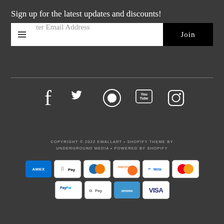Sign up for the latest updates and discounts!
ter Email Address
Join
[Figure (infographic): Social media icons: Facebook, Twitter, Pinterest, YouTube, Instagram]
COPYRIGHT © 2022 EWALLART • SHOPIFY THEME BY UNDERGROUND MEDIA • POWERED BY SHOPIFY
[Figure (other): Payment method icons: AMEX, Apple Pay, Diners, Discover, Meta Pay, Mastercard, PayPal, G Pay, Venmo, VISA]